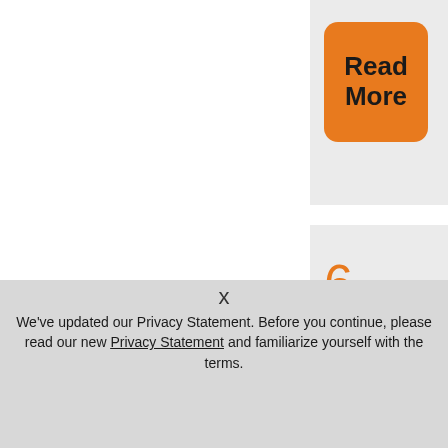[Figure (other): Orange 'Read More' button on a light gray background panel in the upper right area]
6 ways to improve
x
We've updated our Privacy Statement. Before you continue, please read our new Privacy Statement and familiarize yourself with the terms.